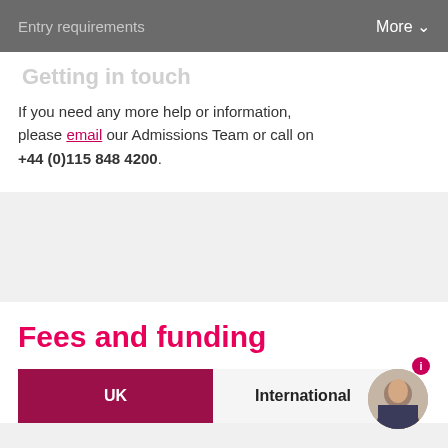Entry requirements    More
Getting in touch
If you need any more help or information, please email our Admissions Team or call on +44 (0)115 848 4200.
Fees and funding
UK    International